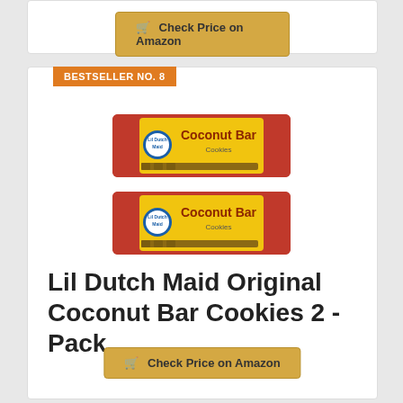[Figure (other): Check Price on Amazon button (top, partial card)]
BESTSELLER NO. 8
[Figure (photo): Two packages of Lil Dutch Maid Original Coconut Bar Cookies stacked, with yellow and red packaging]
Lil Dutch Maid Original Coconut Bar Cookies 2 - Pack
[Figure (other): Check Price on Amazon button (bottom)]